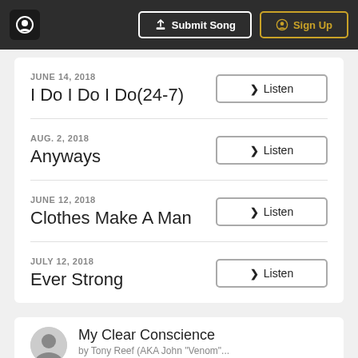Submit Song | Sign Up
JUNE 14, 2018 — I Do I Do I Do(24-7) — Listen
AUG. 2, 2018 — Anyways — Listen
JUNE 12, 2018 — Clothes Make A Man — Listen
JULY 12, 2018 — Ever Strong — Listen
My Clear Conscience